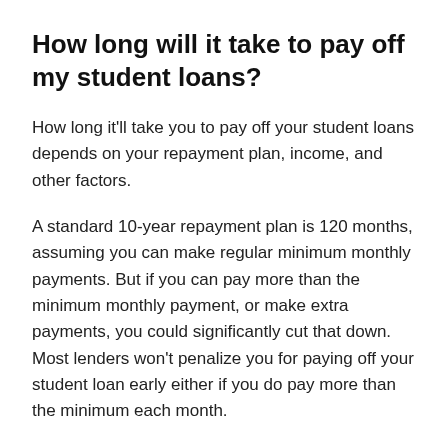How long will it take to pay off my student loans?
How long it'll take you to pay off your student loans depends on your repayment plan, income, and other factors.
A standard 10-year repayment plan is 120 months, assuming you can make regular minimum monthly payments. But if you can pay more than the minimum monthly payment, or make extra payments, you could significantly cut that down. Most lenders won't penalize you for paying off your student loan early either if you do pay more than the minimum each month.